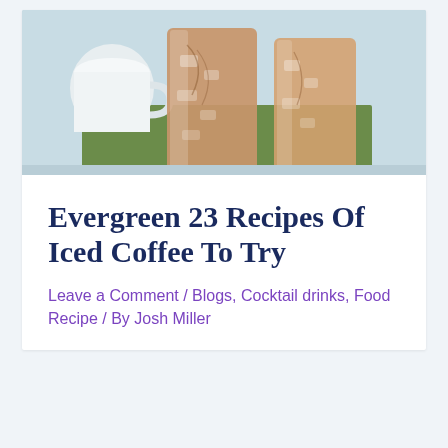[Figure (photo): Photo of iced coffee drinks in tall glasses with ice, placed on a green napkin, with a white mug in the background. The drinks appear to be iced lattes with a caramel/cream color.]
Evergreen 23 Recipes Of Iced Coffee To Try
Leave a Comment / Blogs, Cocktail drinks, Food Recipe / By Josh Miller